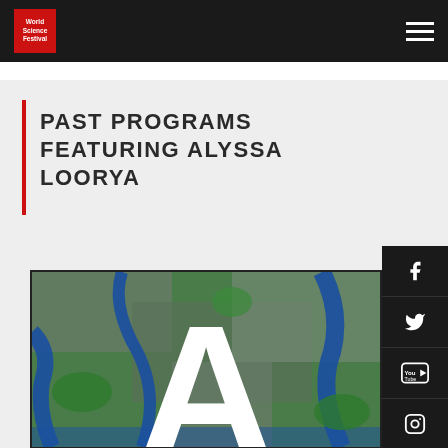World Science Festival
PAST PROGRAMS FEATURING ALYSSA LOORYA
[Figure (photo): Satellite aerial view of a city with rivers, overlaid with a large white letter A. Social media icons (Facebook, Twitter, YouTube, Instagram, Google+) on the right sidebar.]